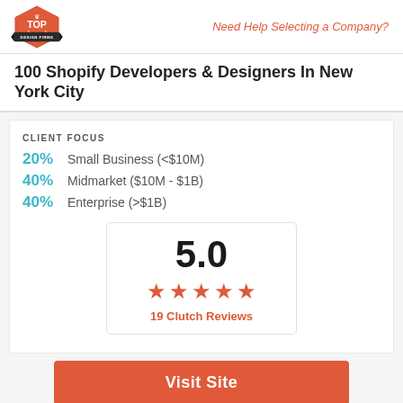Need Help Selecting a Company?
100 Shopify Developers & Designers In New York City
CLIENT FOCUS
20% Small Business (<$10M)
40% Midmarket ($10M - $1B)
40% Enterprise (>$1B)
[Figure (infographic): Rating box showing 5.0 score with 5 red stars and label '19 Clutch Reviews']
Visit Site